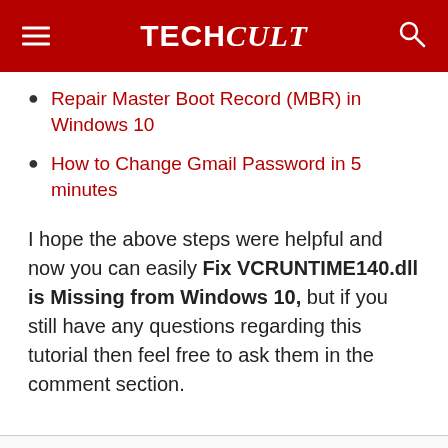TECHCult
Repair Master Boot Record (MBR) in Windows 10
How to Change Gmail Password in 5 minutes
I hope the above steps were helpful and now you can easily Fix VCRUNTIME140.dll is Missing from Windows 10, but if you still have any questions regarding this tutorial then feel free to ask them in the comment section.